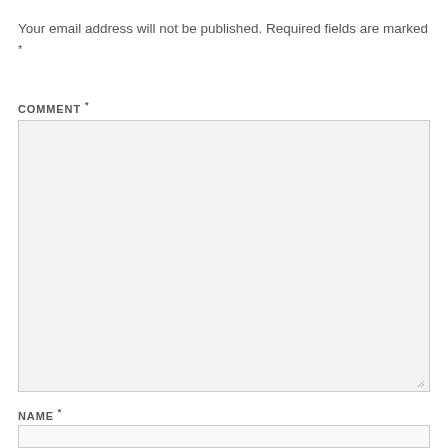Your email address will not be published. Required fields are marked *
COMMENT *
[Figure (screenshot): Large empty comment textarea input field with light gray background and border, resize handle in bottom right corner]
NAME *
[Figure (screenshot): Empty name text input field with light gray background and border]